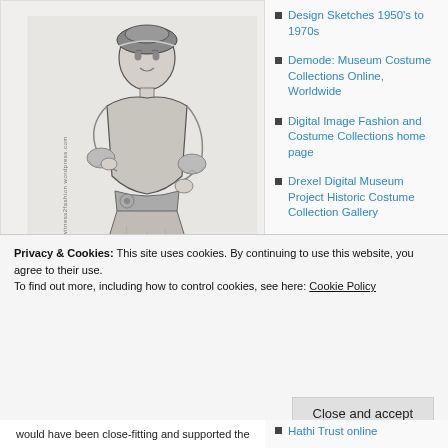[Figure (illustration): Black and white vintage fashion sketch of a woman in an elegant dress with lace trim, hand on hip, wearing a headband or turban, with watermark 'witness2fashion.wordpress.com' rotated vertically on the left side]
Design Sketches 1950's to 1970s
Demode: Museum Costume Collections Online, Worldwide
Digital Image Fashion and Costume Collections home page
Drexel Digital Museum Project Historic Costume Collection Gallery
Fashion Collection
Privacy & Cookies: This site uses cookies. By continuing to use this website, you agree to their use.
To find out more, including how to control cookies, see here: Cookie Policy
Close and accept
Hathi Trust online
would have been close-fitting and supported the